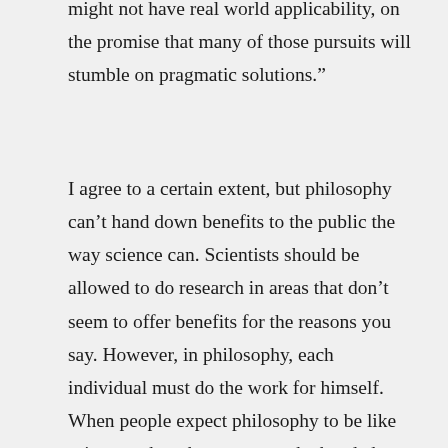might not have real world applicability, on the promise that many of those pursuits will stumble on pragmatic solutions.”
I agree to a certain extent, but philosophy can’t hand down benefits to the public the way science can. Scientists should be allowed to do research in areas that don’t seem to offer benefits for the reasons you say. However, in philosophy, each individual must do the work for himself. When people expect philosophy to be like science, when they expect to be handed down information and truths and pragmatic solutions, they will find philosophy disappointing.